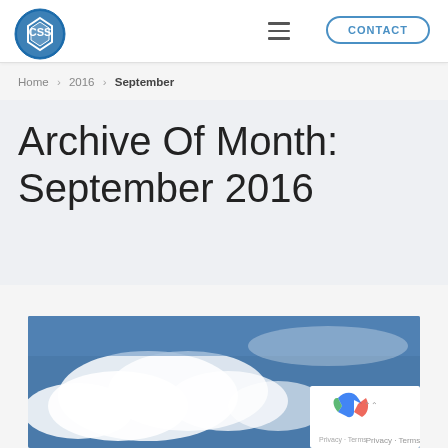[Figure (logo): CSS company circular logo with diamond/gem icon and text CSS]
≡  CONTACT
Home > 2016 > September
Archive Of Month: September 2016
[Figure (photo): Blue sky with clouds photograph, partially visible at the bottom of the page]
Privacy · Terms